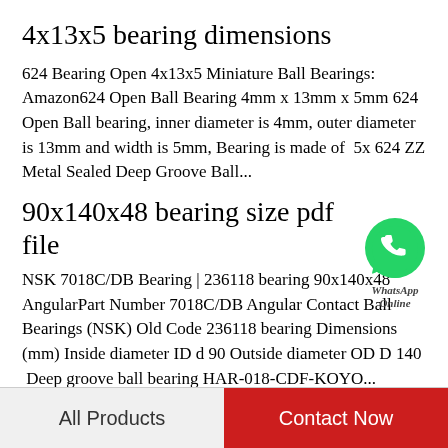4x13x5 bearing dimensions
624 Bearing Open 4x13x5 Miniature Ball Bearings: Amazon624 Open Ball Bearing 4mm x 13mm x 5mm 624 Open Ball bearing, inner diameter is 4mm, outer diameter is 13mm and width is 5mm, Bearing is made of  5x 624 ZZ Metal Sealed Deep Groove Ball...
[Figure (illustration): WhatsApp Online green phone bubble icon with text WhatsApp Online]
90x140x48 bearing size pdf file
NSK 7018C/DB Bearing | 236118 bearing 90x140x48 AngularPart Number 7018C/DB Angular Contact Ball Bearings (NSK) Old Code 236118 bearing Dimensions (mm) Inside diameter ID d 90 Outside diameter OD D 140  Deep groove ball bearing HAR-018-CDF-KOYO...
All Products   Contact Now